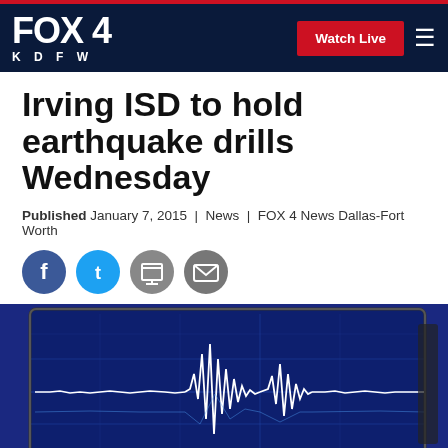FOX 4 KDFW | Watch Live
Irving ISD to hold earthquake drills Wednesday
Published January 7, 2015 | News | FOX 4 News Dallas-Fort Worth
[Figure (other): Social sharing icons: Facebook, Twitter, Print, Email]
[Figure (photo): Seismograph display screen showing earthquake waveform data on a blue background monitor]